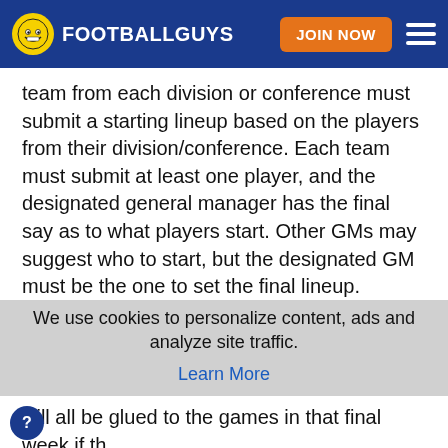FOOTBALLGUYS
team from each division or conference must submit a starting lineup based on the players from their division/conference. Each team must submit at least one player, and the designated general manager has the final say as to what players start. Other GMs may suggest who to start, but the designated GM must be the one to set the final lineup. Whoever wins the game
We use cookies to personalize content, ads and analyze site traffic.
Learn More
OKAY
will all be glued to the games in that final week if th...